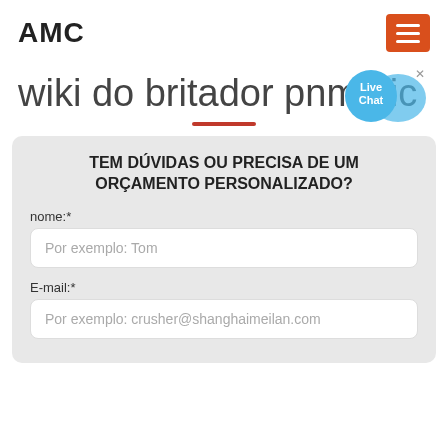AMC
wiki do britador pnmatic
TEM DÚVIDAS OU PRECISA DE UM ORÇAMENTO PERSONALIZADO?
nome:*
Por exemplo: Tom
E-mail:*
Por exemplo: crusher@shanghaimeilan.com